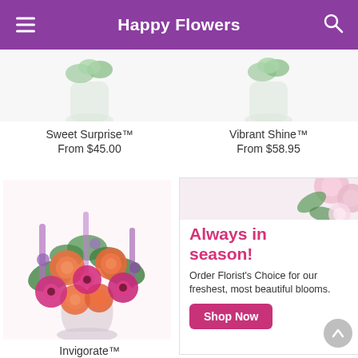Happy Flowers
[Figure (photo): Top portion of flower arrangement in glass vase — Sweet Surprise product image]
Sweet Surprise™
From $45.00
[Figure (photo): Top portion of flower arrangement in glass vase — Vibrant Shine product image]
Vibrant Shine™
From $58.95
[Figure (photo): Colorful bouquet with orange roses, pink gerberas, and purple flowers in a glass vase — Invigorate product]
Invigorate™
[Figure (infographic): Promotional banner with pink flowers: 'Always in season! Order Florist's Choice for our freshest, most beautiful blooms.' with a Shop Now button]